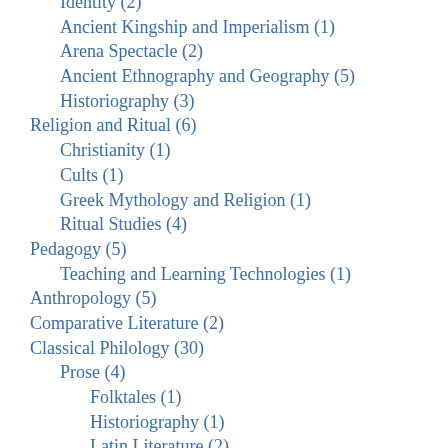Identity (2)
Ancient Kingship and Imperialism (1)
Arena Spectacle (2)
Ancient Ethnography and Geography (5)
Historiography (3)
Religion and Ritual (6)
Christianity (1)
Cults (1)
Greek Mythology and Religion (1)
Ritual Studies (4)
Pedagogy (5)
Teaching and Learning Technologies (1)
Anthropology (5)
Comparative Literature (2)
Classical Philology (30)
Prose (4)
Folktales (1)
Historiography (1)
Latin Literature (2)
Latin Prose (1)